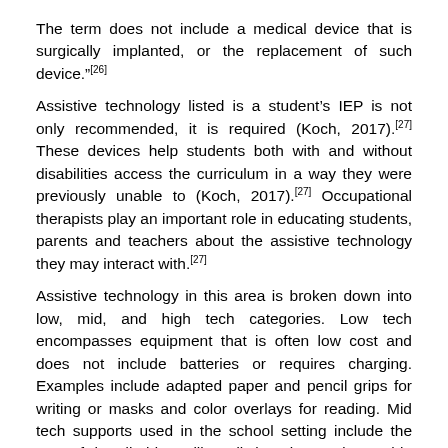The term does not include a medical device that is surgically implanted, or the replacement of such device."[26]
Assistive technology listed is a student's IEP is not only recommended, it is required (Koch, 2017).[27] These devices help students both with and without disabilities access the curriculum in a way they were previously unable to (Koch, 2017).[27] Occupational therapists play an important role in educating students, parents and teachers about the assistive technology they may interact with.[27]
Assistive technology in this area is broken down into low, mid, and high tech categories. Low tech encompasses equipment that is often low cost and does not include batteries or requires charging. Examples include adapted paper and pencil grips for writing or masks and color overlays for reading. Mid tech supports used in the school setting include the use of handheld spelling dictionaries and portable word processors used to keyboard writing. High tech supports involve the use of tablet devices and computers with accompanying software. Software supports for writing include the use of auditory feedback while also reading as a...